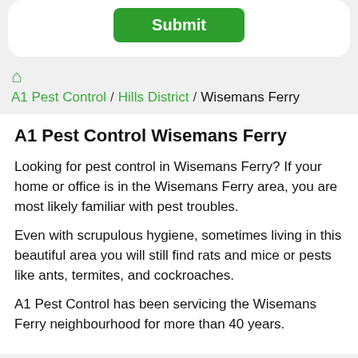[Figure (other): Green Submit button on white card]
A1 Pest Control / Hills District / Wisemans Ferry
A1 Pest Control Wisemans Ferry
Looking for pest control in Wisemans Ferry? If your home or office is in the Wisemans Ferry area, you are most likely familiar with pest troubles.
Even with scrupulous hygiene, sometimes living in this beautiful area you will still find rats and mice or pests like ants, termites, and cockroaches.
A1 Pest Control has been servicing the Wisemans Ferry neighbourhood for more than 40 years.